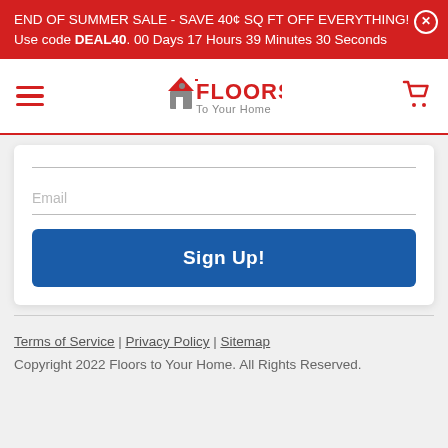END OF SUMMER SALE - SAVE 40¢ SQ FT OFF EVERYTHING! Use code DEAL40. 00 Days 17 Hours 39 Minutes 30 Seconds
[Figure (logo): Floors To Your Home logo with house icon, red text]
Email
Sign Up!
Terms of Service | Privacy Policy | Sitemap
Copyright 2022 Floors to Your Home. All Rights Reserved.